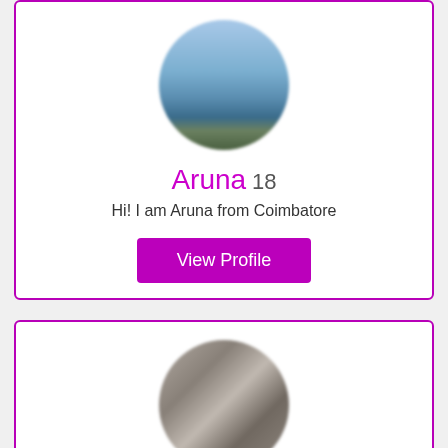[Figure (photo): Circular profile avatar showing a blurred sky/water landscape scene]
Aruna 18
Hi! I am Aruna from Coimbatore
View Profile
[Figure (photo): Circular profile avatar showing a blurred photo of a person]